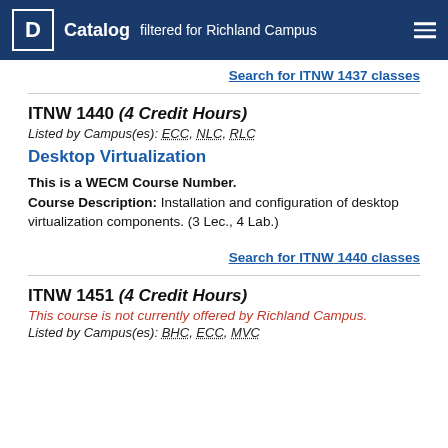Catalog filtered for Richland Campus
Search for ITNW 1437 classes
ITNW 1440 (4 Credit Hours)
Listed by Campus(es): ECC, NLC, RLC
Desktop Virtualization
This is a WECM Course Number. Course Description: Installation and configuration of desktop virtualization components. (3 Lec., 4 Lab.)
Search for ITNW 1440 classes
ITNW 1451 (4 Credit Hours)
This course is not currently offered by Richland Campus.
Listed by Campus(es): BHC, ECC, MVC